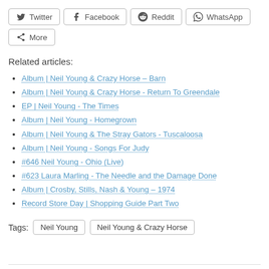[Figure (other): Social share buttons row: Twitter, Facebook, Reddit, WhatsApp, More]
Related articles:
Album | Neil Young & Crazy Horse – Barn
Album | Neil Young & Crazy Horse - Return To Greendale
EP | Neil Young - The Times
Album | Neil Young - Homegrown
Album | Neil Young & The Stray Gators - Tuscaloosa
Album | Neil Young - Songs For Judy
#646 Neil Young - Ohio (Live)
#623 Laura Marling - The Needle and the Damage Done
Album | Crosby, Stills, Nash & Young – 1974
Record Store Day | Shopping Guide Part Two
Tags: Neil Young   Neil Young & Crazy Horse